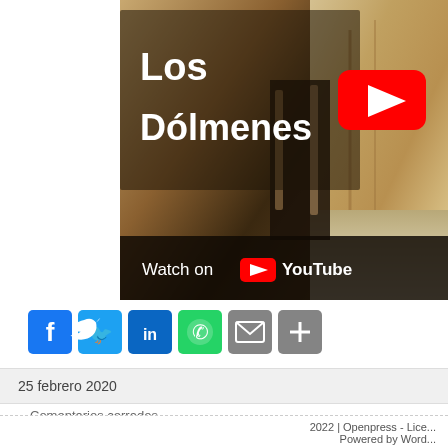[Figure (screenshot): YouTube video thumbnail showing 'Los Dólmenes' title over a stone dolmen background, with YouTube play button and 'Watch on YouTube' bar at bottom]
[Figure (infographic): Social share buttons: Facebook, Twitter, LinkedIn, WhatsApp, Email, More]
25 febrero 2020
Comentarios cerrados
2022 | Openpress - Lice... Powered by Word...